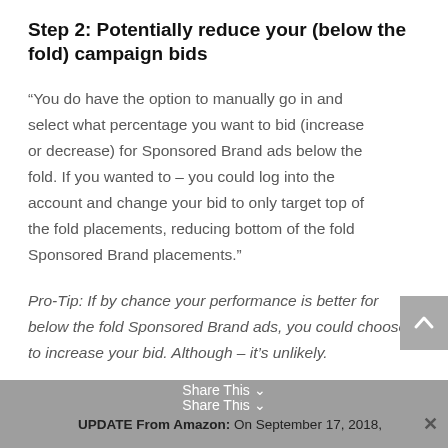Step 2: Potentially reduce your (below the fold) campaign bids
“You do have the option to manually go in and select what percentage you want to bid (increase or decrease) for Sponsored Brand ads below the fold. If you wanted to – you could log into the account and change your bid to only target top of the fold placements, reducing bottom of the fold Sponsored Brand placements.”
Pro-Tip: If by chance your performance is better for below the fold Sponsored Brand ads, you could choose to increase your bid. Although – it’s unlikely.
UPDATE From Amazon: On September 17, 2018,